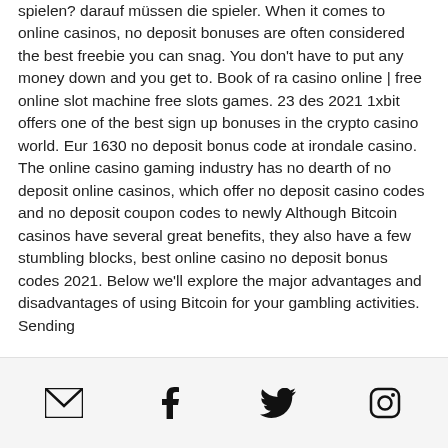spielen? darauf müssen die spieler. When it comes to online casinos, no deposit bonuses are often considered the best freebie you can snag. You don't have to put any money down and you get to. Book of ra casino online | free online slot machine free slots games. 23 des 2021 1xbit offers one of the best sign up bonuses in the crypto casino world. Eur 1630 no deposit bonus code at irondale casino. The online casino gaming industry has no dearth of no deposit online casinos, which offer no deposit casino codes and no deposit coupon codes to newly Although Bitcoin casinos have several great benefits, they also have a few stumbling blocks, best online casino no deposit bonus codes 2021. Below we'll explore the major advantages and disadvantages of using Bitcoin for your gambling activities. Sending
[email icon] [facebook icon] [twitter icon] [instagram icon]